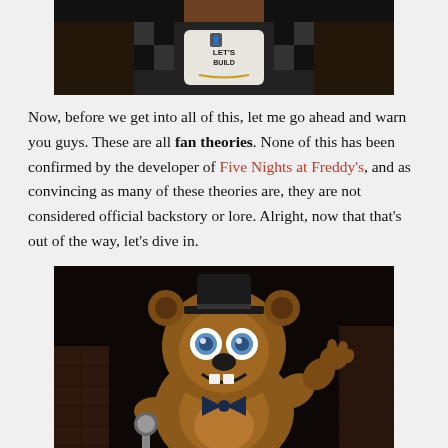[Figure (photo): Top portion of a person wearing a black and white patterned outfit with a bib/shirt reading 'Let's Build', dark background]
Now, before we get into all of this, let me go ahead and warn you guys. These are all fan theories. None of this has been confirmed by the developer of Five Nights at Freddy's, and as convincing as many of these theories are, they are not considered official backstory or lore. Alright, now that that's out of the way, let's dive in.
[Figure (photo): Freddy Fazbear animatronic character from Five Nights at Freddy's — a brown bear with a top hat, blue eyes, bow tie, holding a microphone, waving, dark background]